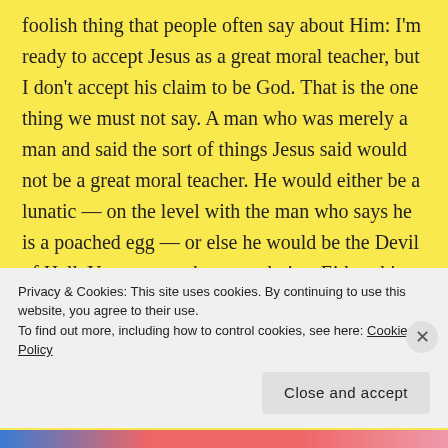foolish thing that people often say about Him: I'm ready to accept Jesus as a great moral teacher, but I don't accept his claim to be God. That is the one thing we must not say. A man who was merely a man and said the sort of things Jesus said would not be a great moral teacher. He would either be a lunatic — on the level with the man who says he is a poached egg — or else he would be the Devil of Hell. You must make your choice. Either this man was, and is, the Son of God, or else a madman or something worse. You can shut him up for a fool, you can spit at
Privacy & Cookies: This site uses cookies. By continuing to use this website, you agree to their use.
To find out more, including how to control cookies, see here: Cookie Policy